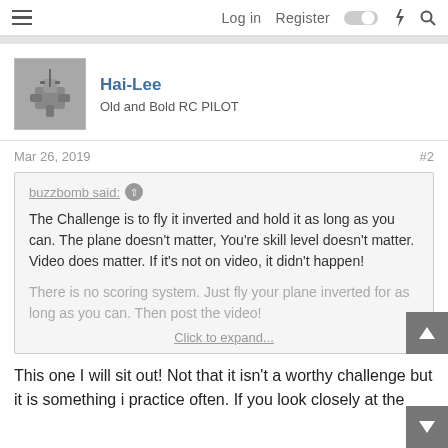Log in  Register
[Figure (screenshot): User avatar/profile photo of Hai-Lee showing a gray metallic RC aircraft component]
Hai-Lee
Old and Bold RC PILOT
Mar 26, 2019  #2
buzzbomb said: ↑

The Challenge is to fly it inverted and hold it as long as you can. The plane doesn't matter, You're skill level doesn't matter. Video does matter. If it's not on video, it didn't happen!

There is no scoring system. Just fly your plane inverted for as long as you can. Then post the video!

Click to expand...
This one I will sit out! Not that it isn't a worthy challenge but it is something i practice often. If you look closely at the